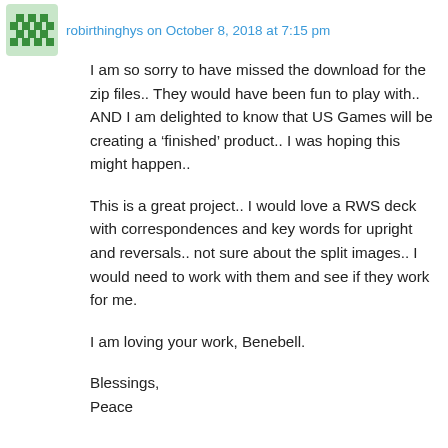robirthinghys on October 8, 2018 at 7:15 pm
I am so sorry to have missed the download for the zip files.. They would have been fun to play with.. AND I am delighted to know that US Games will be creating a ‘finished’ product.. I was hoping this might happen..
This is a great project.. I would love a RWS deck with correspondences and key words for upright and reversals.. not sure about the split images.. I would need to work with them and see if they work for me.
I am loving your work, Benebell.
Blessings,
Peace